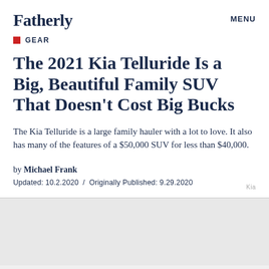Fatherly    MENU
GEAR
The 2021 Kia Telluride Is a Big, Beautiful Family SUV That Doesn't Cost Big Bucks
The Kia Telluride is a large family hauler with a lot to love. It also has many of the features of a $50,000 SUV for less than $40,000.
by Michael Frank
Updated: 10.2.2020 / Originally Published: 9.29.2020